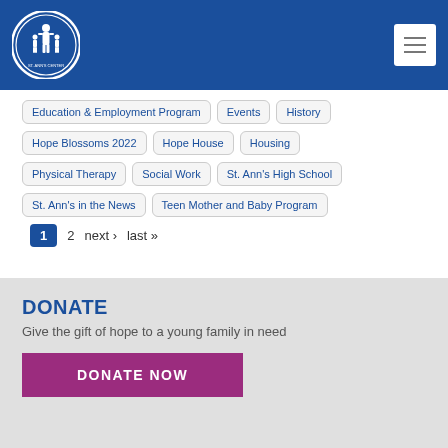[Figure (logo): St. Ann's circular logo with blue background and white figures]
Education & Employment Program
Events
History
Hope Blossoms 2022
Hope House
Housing
Physical Therapy
Social Work
St. Ann's High School
St. Ann's in the News
Teen Mother and Baby Program
1  2  next ›  last »
DONATE
Give the gift of hope to a young family in need
DONATE NOW